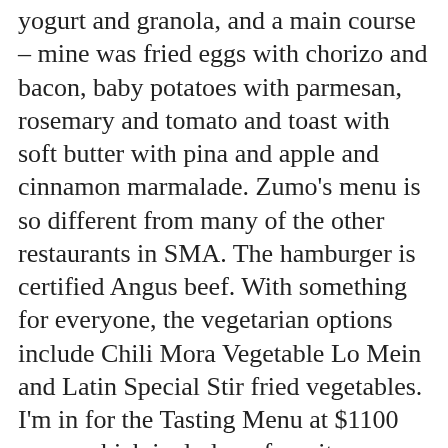yogurt and granola, and a main course – mine was fried eggs with chorizo and bacon, baby potatoes with parmesan, rosemary and tomato and toast with soft butter with pina and apple and cinnamon marmalade. Zumo's menu is so different from many of the other restaurants in SMA. The hamburger is certified Angus beef. With something for everyone, the vegetarian options include Chili Mora Vegetable Lo Mein and Latin Special Stir fried vegetables. I'm in for the Tasting Menu at $1100 pesos which includes a favorite, Chocolate Covered Oranges with Himalayan Sea Salt. Catch a 2X1 Happy Hour, Monday – Friday, early - from 2:00 PM – 6:00 PM. Sunset Vibes with Acoustic Band Sonora Groove will rock your Wednesday nights from 6:00 PM – 8:00 PM. Zumo's Sunday Brunch is from 9:00 AM – 3:00 PM for $380 pesos + a 15% tip. Make a reservation as it gets crowded. Housed inside Villa Limon, with luxury accommodations and a catering operation in full swing, Zumo is a sweet surprise for anyone also looking for the